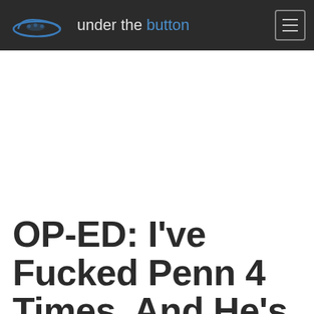under the button
[Figure (other): Advertisement placeholder white space]
OP-ED: I've Fucked Penn 4 Times, And He's Still Making Me Go on Air-